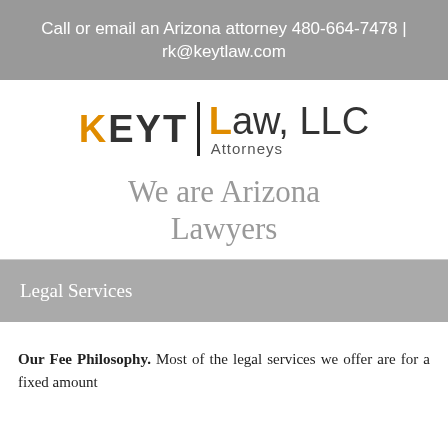Call or email an Arizona attorney 480-664-7478 | rk@keytlaw.com
[Figure (logo): KEYT Law, LLC Attorneys logo with orange K and L letters and vertical divider bar]
We are Arizona Lawyers
Legal Services
Our Fee Philosophy.  Most of the legal services we offer are for a fixed amount